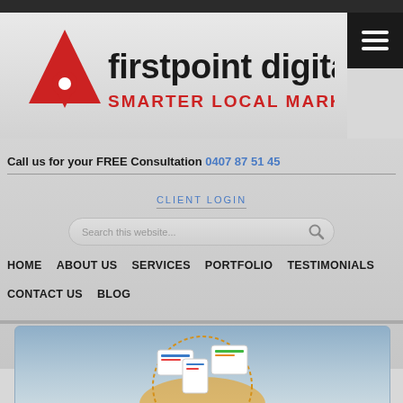[Figure (logo): Firstpoint Digital logo with red triangle/location pin icon and text 'firstpoint digital SMARTER LOCAL MARKETING']
Call us for your FREE Consultation 0407 87 51 45
CLIENT LOGIN
Search this website...
HOME
ABOUT US
SERVICES
PORTFOLIO
TESTIMONIALS
CONTACT US
BLOG
[Figure (illustration): Partial view of a digital marketing illustration showing devices and globe at bottom of page]